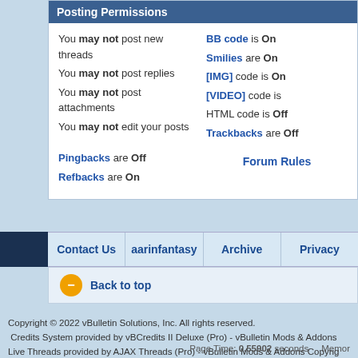Posting Permissions
You may not post new threads
You may not post replies
You may not post attachments
You may not edit your posts
BB code is On
Smilies are On
[IMG] code is On
[VIDEO] code is
HTML code is Off
Trackbacks are Off
Pingbacks are Off
Refbacks are On
Forum Rules
Contact Us | aarinfantasy | Archive | Privacy
Back to top
Copyright © 2022 vBulletin Solutions, Inc. All rights reserved.
Credits System provided by vBCredits II Deluxe (Pro) - vBulletin Mods & Addons
Live Threads provided by AJAX Threads (Pro) - vBulletin Mods & Addons Copyrig
Shoutbox provided by vBShout (Pro) - vBulletin Mods & Addons Copyright © 2022
All times are GMT -5. The time now is 09:31 AM.
Page Time: 0.55902 seconds   Memor